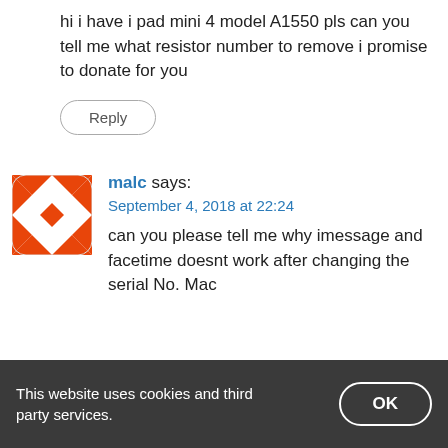hi i have i pad mini 4 model A1550 pls can you tell me what resistor number to remove i promise to donate for you
Reply
[Figure (illustration): Orange and white geometric avatar icon with diamond/arrow pattern]
malc says:
September 4, 2018 at 22:24
can you please tell me why imessage and facetime doesnt work after changing the serial No. Mac
This website uses cookies and third party services.
OK